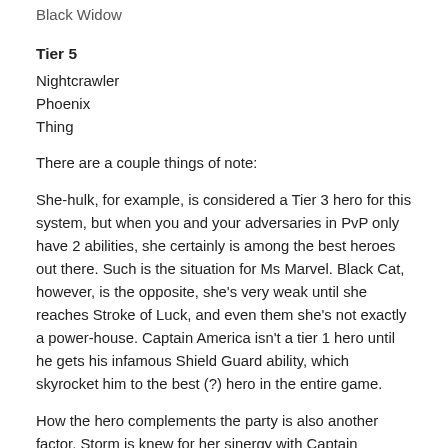Black Widow
Tier 5
Nightcrawler
Phoenix
Thing
There are a couple things of note:
She-hulk, for example, is considered a Tier 3 hero for this system, but when you and your adversaries in PvP only have 2 abilities, she certainly is among the best heroes out there. Such is the situation for Ms Marvel. Black Cat, however, is the opposite, she's very weak until she reaches Stroke of Luck, and even them she's not exactly a power-house. Captain America isn't a tier 1 hero until he gets his infamous Shield Guard ability, which skyrocket him to the best (?) hero in the entire game.
How the hero complements the party is also another factor. Storm is knew for her sinergy with Captain America and Spiderman. Colossus also protects Spidey from Scrapper attacks quite efficiently. Luke Cage benefits from someone who can induce Combo Setup. Not only other